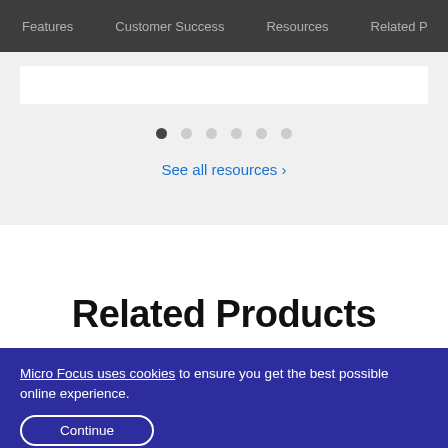Features   Customer Success   Resources   Related P
[Figure (screenshot): White card strip in a light gray section]
• • • • • •  (pagination dots, first active)
See all resources ›
Related Products
Micro Focus uses cookies to ensure you get the best possible online experience.
Continue